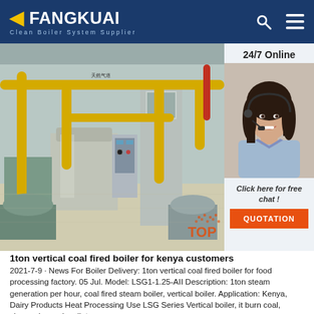FANGKUAI — Clean Boiler System Supplier
[Figure (photo): Industrial boiler room with yellow pipes, vertical boilers, and machinery inside a factory. Right side panel shows a female customer service agent with headset and text '24/7 Online', 'Click here for free chat!', and an orange QUOTATION button.]
1ton vertical coal fired boiler for kenya customers
2021-7-9 · News For Boiler Delivery: 1ton vertical coal fired boiler for food processing factory. 05 Jul. Model: LSG1-1.25-AII Description: 1ton steam generation per hour, coal fired steam boiler, vertical boiler. Application: Kenya, Dairy Products Heat Processing Use LSG Series Vertical boiler, it burn coal, charcoal, wood, pellets.